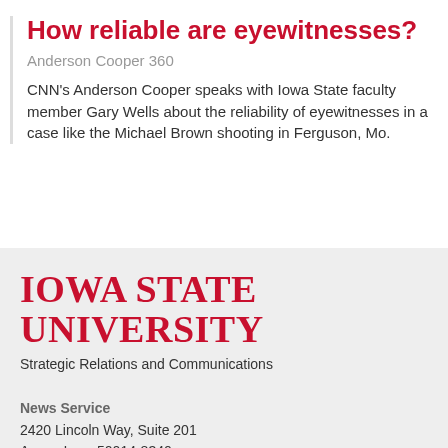How reliable are eyewitnesses?
Anderson Cooper 360
CNN's Anderson Cooper speaks with Iowa State faculty member Gary Wells about the reliability of eyewitnesses in a case like the Michael Brown shooting in Ferguson, Mo.
[Figure (logo): Iowa State University logo in red serif text]
Strategic Relations and Communications
News Service
2420 Lincoln Way, Suite 201
Ames, Iowa 50014-8340